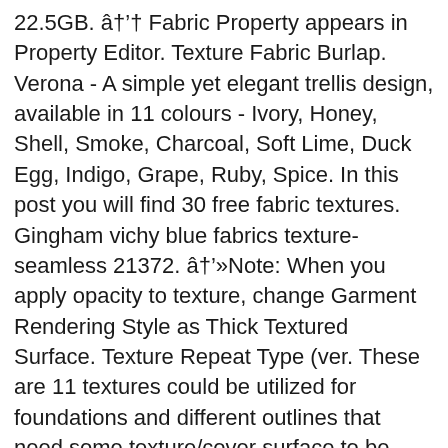22.5GB. â Fabric Property appears in Property Editor. Texture Fabric Burlap. Verona - A simple yet elegant trellis design, available in 11 colours - Ivory, Honey, Shell, Smoke, Charcoal, Soft Lime, Duck Egg, Indigo, Grape, Ruby, Spice. In this post you will find 30 free fabric textures. Gingham vichy blue fabrics texture-seamless 21372. â»Note: When you apply opacity to texture, change Garment Rendering Style as Thick Textured Surface. Texture Repeat Type (ver. These are 11 textures could be utilized for foundations and different outlines that need some texture/cover surface to be great. You can used on your carton or child related projects. Ice Crystal Ice Form. 155 189 17. Gingham vichy Violet fabrics texture seamless 21376. Textile Jute Brown. Related Images: fabric texture cloth textile background pattern denim silk cotton design. Today we're showcasing 50 fabric textures that can be used in your own work. Textile Brown. Blue Blue Jeans Canvas. PBR (Default) Option. 1,135 Free photos of Fabric Texture. Fabric Tissue Cotton. Blue Blue Jeans Canvas. 11 Fabric Textures Pack. Part Of The Family Of God, Plantation Rum 5